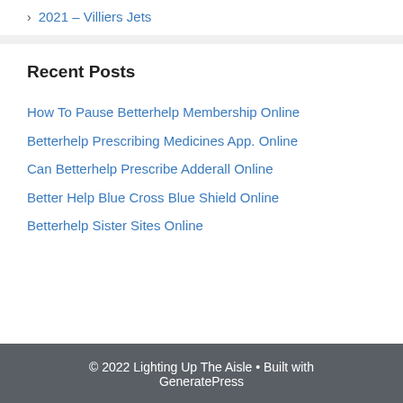2021 – Villiers Jets
Recent Posts
How To Pause Betterhelp Membership Online
Betterhelp Prescribing Medicines App. Online
Can Betterhelp Prescribe Adderall Online
Better Help Blue Cross Blue Shield Online
Betterhelp Sister Sites Online
© 2022 Lighting Up The Aisle • Built with GeneratePress